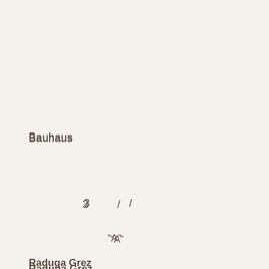Bauhaus
3  /
“A”
Raduga Grez
Raduga Grėz
“Rainbow Dreams”